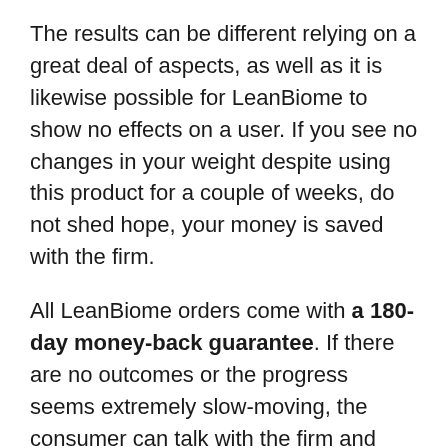The results can be different relying on a great deal of aspects, as well as it is likewise possible for LeanBiome to show no effects on a user. If you see no changes in your weight despite using this product for a couple of weeks, do not shed hope, your money is saved with the firm.
All LeanBiome orders come with a 180-day money-back guarantee. If there are no outcomes or the progress seems extremely slow-moving, the consumer can talk with the firm and launch a refund request.
The firm has an energetic customer support group ready to help clients with reimbursements. Upon call, it would ask for the